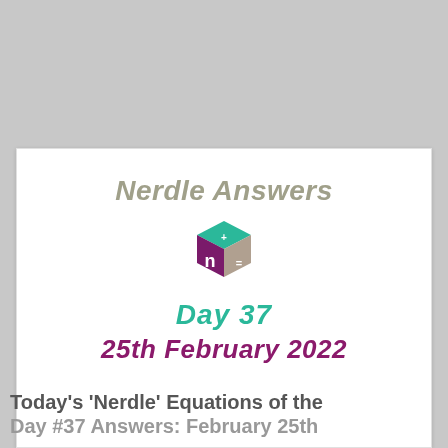[Figure (logo): Nerdle Answers logo: a 3D cube with a purple face showing the letter n, teal top face with a plus sign, and grey side face with an equals sign]
Nerdle Answers
Day 37
25th February 2022
Today's 'Nerdle' Equations of the Day #37 Answers: February 25th